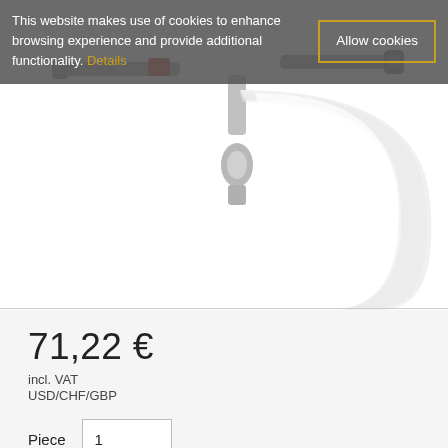This website makes use of cookies to enhance browsing experience and provide additional functionality. Details
[Figure (photo): Close-up product photo of a white ceramic and chrome faucet/tap on a white background]
71,22 €
incl. VAT
USD/CHF/GBP
Piece  1